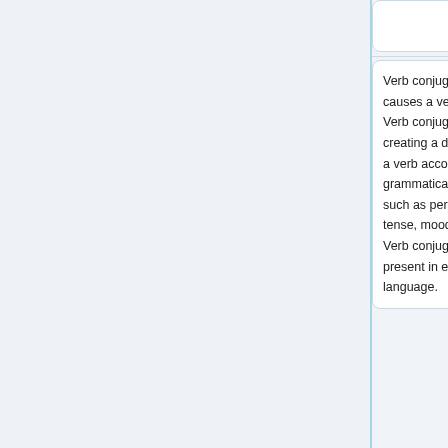Verb conjugation also causes a verb to change. Verb conjugation is creating a derived form of a verb according to grammatical categories such as person, voice, tense, mood, gender, etc. Verb conjugation is not present in every language.
Verb conjugation also causes a verb to change. Verb conjugation is creating a derived form of a verb according to grammatical categories such as person, voice, tense, mood, gender, etc. Verb conjugation is not present in every language.
A "verb phrase" is a group of words that ...